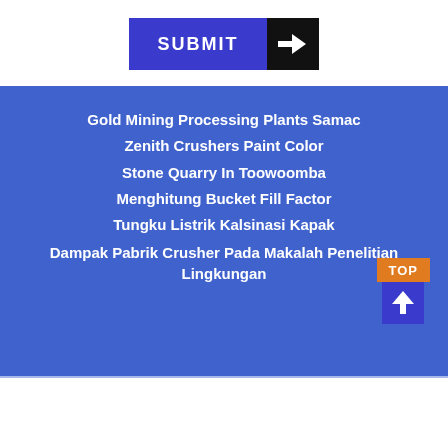[Figure (other): A blue Submit button with a black arrow box on the right side]
Gold Mining Processing Plants Samac
Zenith Crushers Paint Color
Stone Quarry In Toowoomba
Menghitung Bucket Fill Factor
Tungku Listrik Kalsinasi Kapak
Dampak Pabrik Crusher Pada Makalah Penelitian Lingkungan